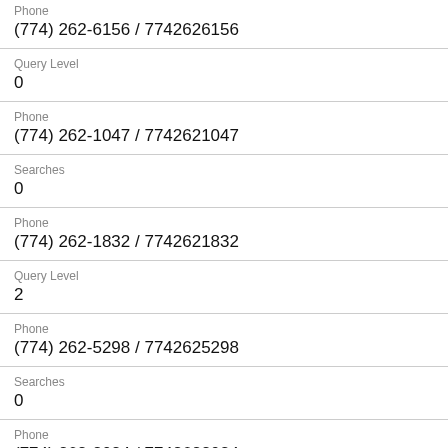Phone
(774) 262-6156 / 7742626156
Query Level
0
Phone
(774) 262-1047 / 7742621047
Searches
0
Phone
(774) 262-1832 / 7742621832
Query Level
2
Phone
(774) 262-5298 / 7742625298
Searches
0
Phone
(774) 262-2024 / 7742622024
Query Level
2